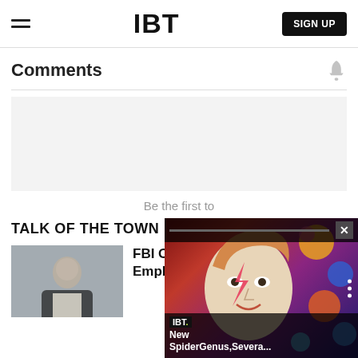IBT  SIGN UP
Comments
[Figure (screenshot): Gray comment input box area]
Be the first to
TALK OF THE TOWN
[Figure (photo): Man in suit outdoors]
FBI Officials Allegedly Told Employees Not To Investigate
[Figure (screenshot): IBT video overlay popup showing colorful face art (David Bowie-style) with text: New SpiderGenus,Severa...]